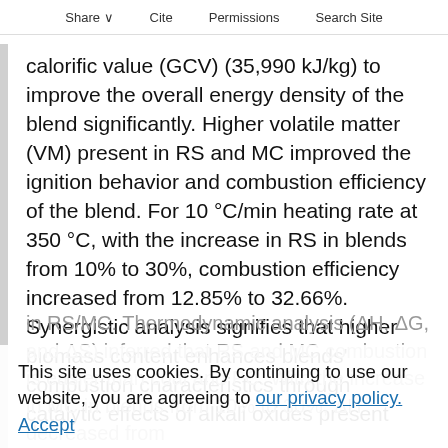Share  Cite  Permissions  Search Site
calorific value (GCV) (35,990 kJ/kg) to improve the overall energy density of the blend significantly. Higher volatile matter (VM) present in RS and MC improved the ignition behavior and combustion efficiency of the blend. For 10 °C/min heating rate at 350 °C, with the increase in RS in blends from 10% to 30%, combustion efficiency increased from 12.85% to 32.66%. Synergistic analysis signifies that higher biomass content enhances blends' combustion characteristics through catalytic effects of alkali oxides present
in RS/MC. Thermodynamic analysis (ΔH, ΔG, and ΔS) inferred that RS and MC combustion is easier than coal and PC. With the increase in MC in blends from 10% to 30%, ΔH decreased from
This site uses cookies. By continuing to use our website, you are agreeing to our privacy policy.
Accept